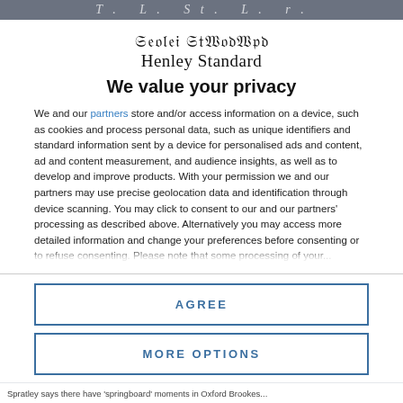T. L. St. L. r.
Henley Standard
We value your privacy
We and our partners store and/or access information on a device, such as cookies and process personal data, such as unique identifiers and standard information sent by a device for personalised ads and content, ad and content measurement, and audience insights, as well as to develop and improve products. With your permission we and our partners may use precise geolocation data and identification through device scanning. You may click to consent to our and our partners' processing as described above. Alternatively you may access more detailed information and change your preferences before consenting or to refuse consenting. Please note that some processing of your...
AGREE
MORE OPTIONS
Spratley says there have 'springboard' moments in Oxford Brookes...